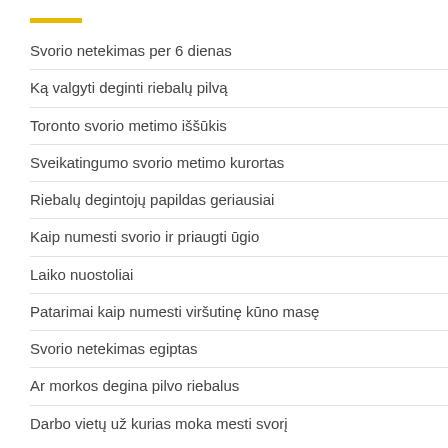Svorio netekimas per 6 dienas
Ką valgyti deginti riebalų pilvą
Toronto svorio metimo iššūkis
Sveikatingumo svorio metimo kurortas
Riebalų degintojų papildas geriausiai
Kaip numesti svorio ir priaugti ūgio
Laiko nuostoliai
Patarimai kaip numesti viršutinę kūno masę
Svorio netekimas egiptas
Ar morkos degina pilvo riebalus
Darbo vietų už kurias moka mesti svorį